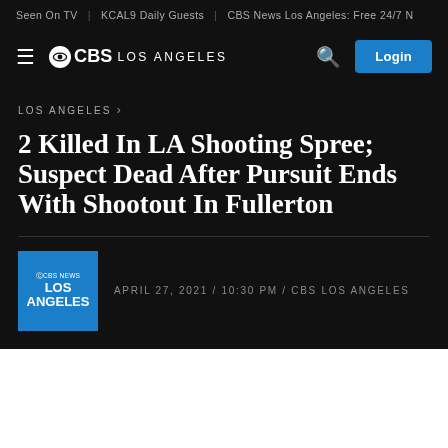Seen On TV | KCAL9 Daily Guests | CBS News Los Angeles: Free 24/7 N
≡ ⊙CBS LOS ANGELES   🔍  Login
LOS ANGELES ›
2 Killed In LA Shooting Spree; Suspect Dead After Pursuit Ends With Shootout In Fullerton
APRIL 27, 2021 / 10:30 PM / CBS LOS ANGELES